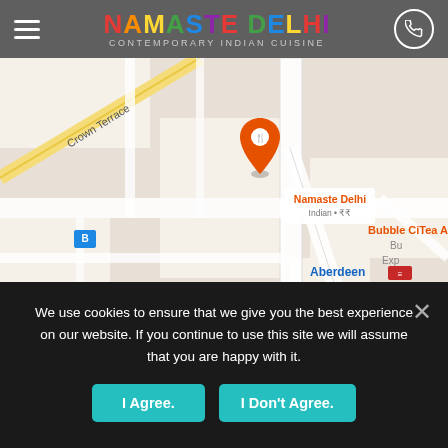Namaste Delhi — Contemporary Indian Cuisine
[Figure (map): Google Maps screenshot showing area around Namaste Delhi restaurant in Aberdeen, Scotland. Visible locations include: Namaste Delhi (Indian • ₹₹), Bubble CiTea Ab, St John's Episcopal Church, OYO Flagship Brentwood, Royal Crown Guest House, WoW Car Hire, Aberdeen railway station, College Street Car Park. Streets include Crown Terrace, A93.]
We use cookies to ensure that we give you the best experience on our website. If you continue to use this site we will assume that you are happy with it.